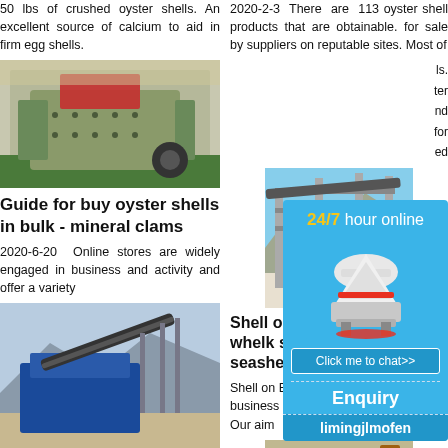50 lbs of crushed oyster shells. An excellent source of calcium to aid in firm egg shells.
[Figure (photo): Industrial crushing machine - red and green, in factory setting]
Guide for buy oyster shells in bulk - mineral clams
2020-6-20  Online stores are widely engaged in business and activity and offer a variety
[Figure (photo): Blue industrial belt conveyor machine outdoors]
Bulk Crushed Oyster oysters in world markets is
2020-2-3  There are 113 oyster shell products that are obtainable. for sale by suppliers on reputable sites. Most of
ls. ter nd for ed
[Figure (photo): Large industrial quarry machinery and conveyor belts outdoors]
Shell on B whelk sh seashell
Shell on B business i Our aim
[Figure (photo): Yellow excavator working outdoors]
driveways Oyster S OYSTE
[Figure (infographic): 24/7 hour online chat advertisement with cone crusher machine image, Click me to chat>> button, Enquiry section, limingjlmofen username]